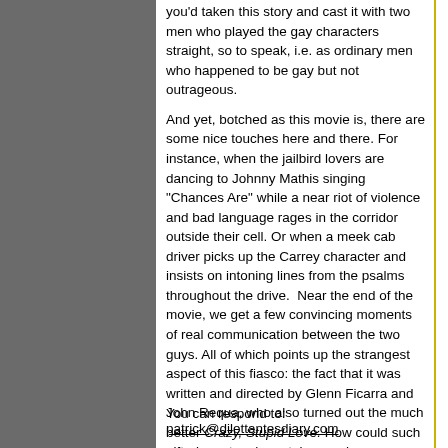you'd taken this story and cast it with two men who played the gay characters straight, so to speak, i.e. as ordinary men who happened to be gay but not outrageous.
And yet, botched as this movie is, there are some nice touches here and there. For instance, when the jailbird lovers are dancing to Johnny Mathis singing "Chances Are" while a near riot of violence and bad language rages in the corridor outside their cell. Or when a meek cab driver picks up the Carrey character and insists on intoning lines from the psalms throughout the drive.  Near the end of the movie, we get a few convincing moments of real communication between the two guys. All of which points up the strangest aspect of this fiasco: the fact that it was written and directed by Glenn Ficarra and John Requa, who also turned out the much better Crazy, Stupid Love. How could such gifted creators have taken such a wrong turn?
Capsule comment: Blechh!
You can respond to: patrick@dilettantesdiary.com